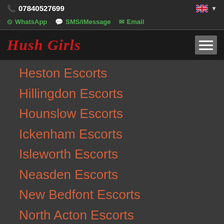07840527699
WhatsApp   SMS/iMessage   Email
Hush Girls
Heston Escorts
Hillingdon Escorts
Hounslow Escorts
Ickenham Escorts
Isleworth Escorts
Neasden Escorts
New Bedfont Escorts
North Acton Escorts
Northolt Escorts
Northwood Escorts
Perivale Escorts